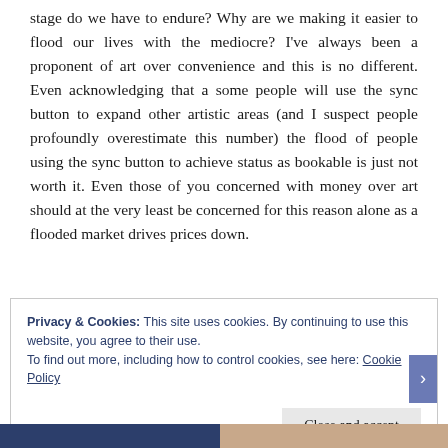stage do we have to endure? Why are we making it easier to flood our lives with the mediocre? I've always been a proponent of art over convenience and this is no different. Even acknowledging that a some people will use the sync button to expand other artistic areas (and I suspect people profoundly overestimate this number) the flood of people using the sync button to achieve status as bookable is just not worth it. Even those of you concerned with money over art should at the very least be concerned for this reason alone as a flooded market drives prices down.
Privacy & Cookies: This site uses cookies. By continuing to use this website, you agree to their use.
To find out more, including how to control cookies, see here: Cookie Policy